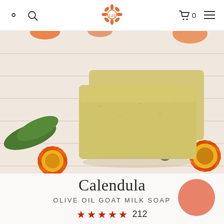Navigation header with user icon, search icon, logo, cart (0), and menu
[Figure (photo): Two bars of pale yellow-green handmade soap on a white wood surface surrounded by vibrant orange calendula flowers with green leaves]
Calendula
OLIVE OIL GOAT MILK SOAP
★★★★★ 212